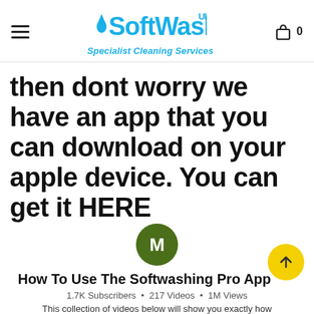SoftWash UK — Specialist Cleaning Services
then dont worry we have an app that you can download on your apple device. You can get it HERE
[Figure (illustration): Green circle avatar with letter M]
How To Use The Softwashing Pro App
1.7K Subscribers • 217 Videos • 1M Views
This collection of videos below will show you exactly how